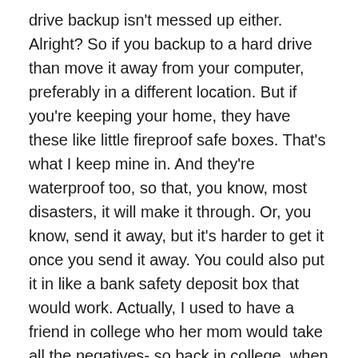drive backup isn't messed up either. Alright? So if you backup to a hard drive than move it away from your computer, preferably in a different location. But if you're keeping your home, they have these like little fireproof safe boxes. That's what I keep mine in. And they're waterproof too, so that, you know, most disasters, it will make it through. Or, you know, send it away, but it's harder to get it once you send it away. You could also put it in like a bank safety deposit box that would work. Actually, I used to have a friend in college who her mom would take all the negatives- so back in college, when I was in college, we, we didn't have digital photography, so we had like strips of film and she would take all of her strips of film to her safety deposit box because that was the most valuable thing in her house.
So just think about that too for your house. If